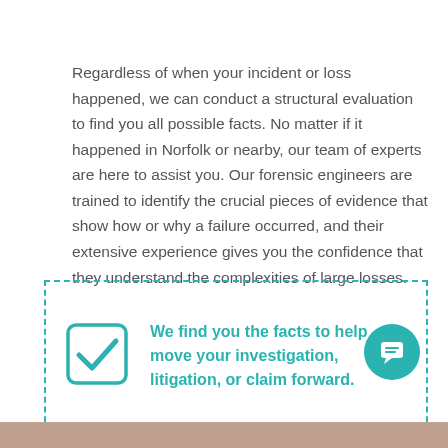Regardless of when your incident or loss happened, we can conduct a structural evaluation to find you all possible facts. No matter if it happened in Norfolk or nearby, our team of experts are here to assist you. Our forensic engineers are trained to identify the crucial pieces of evidence that show how or why a failure occurred, and their extensive experience gives you the confidence that they understand the complexities of large losses.
[Figure (infographic): Dashed teal border callout box with a teal checkmark icon on the left and bold teal text reading: We find you the facts to help move your investigation, litigation, or claim forward. A teal circular chat/message button appears at the bottom right overlapping the box border.]